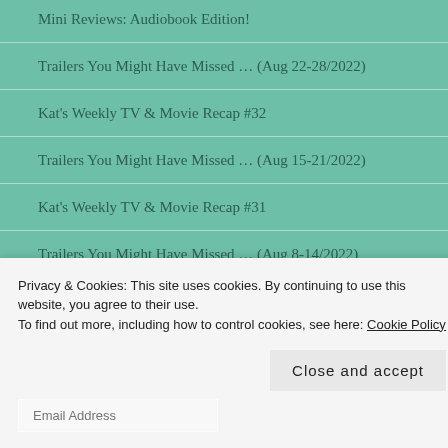Mini Reviews: Audiobook Edition!
Trailers You Might Have Missed … (Aug 22-28/2022)
Kat's Weekly TV & Movie Recap #32
Trailers You Might Have Missed … (Aug 15-21/2022)
Kat's Weekly TV & Movie Recap #31
Trailers You Might Have Missed … (Aug 8-14/2022)
FOLLOW BLOG VIA EMAIL
Privacy & Cookies: This site uses cookies. By continuing to use this website, you agree to their use.
To find out more, including how to control cookies, see here: Cookie Policy
Close and accept
Email Address